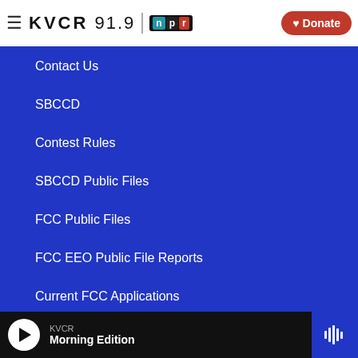KVCR 91.9 NPR — Donate
Contact Us
SBCCD
Contest Rules
SBCCD Public Files
FCC Public Files
FCC EEO Public File Reports
Current FCC Applications
KVCR TV
KVCR — Morning Edition